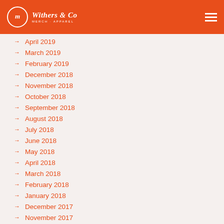Withers & Co Merch Apparel
April 2019
March 2019
February 2019
December 2018
November 2018
October 2018
September 2018
August 2018
July 2018
June 2018
May 2018
April 2018
March 2018
February 2018
January 2018
December 2017
November 2017
October 2017
September 2017
August 2017